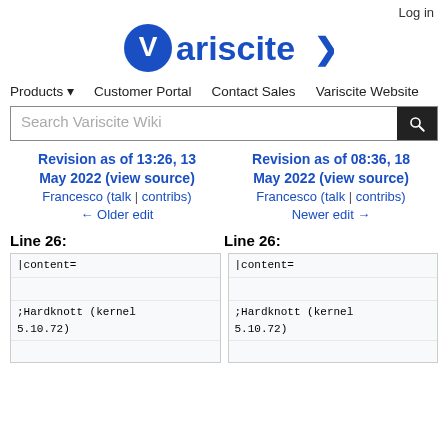Log in
[Figure (logo): Variscite logo with blue V icon and arrow]
Products ▾  Customer Portal  Contact Sales  Variscite Website
Search Variscite Wiki
Revision as of 13:26, 13 May 2022 (view source)
Francesco (talk | contribs)
← Older edit
Revision as of 08:36, 18 May 2022 (view source)
Francesco (talk | contribs)
Newer edit →
Line 26:
Line 26:
|content=

;Hardknott (kernel 5.10.72)

* {{Varlink|VAR-SOM-MX8_Release_Notes|RELEAS
|content=

;Hardknott (kernel 5.10.72)

* {{Varlink|VAR-SOM-MX8_Release_Notes|mx8-